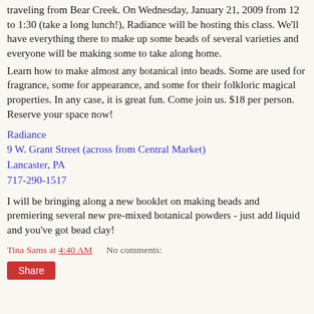…traveling from Bear Creek. On Wednesday, January 21, 2009 from 12 to 1:30 (take a long lunch!), Radiance will be hosting this class. We'll have everything there to make up some beads of several varieties and everyone will be making some to take along home.
Learn how to make almost any botanical into beads. Some are used for fragrance, some for appearance, and some for their folkloric magical properties. In any case, it is great fun. Come join us. $18 per person.
Reserve your space now!
Radiance
9 W. Grant Street (across from Central Market)
Lancaster, PA
717-290-1517
I will be bringing along a new booklet on making beads and premiering several new pre-mixed botanical powders - just add liquid and you've got bead clay!
Tina Sams at 4:40 AM    No comments:
Share